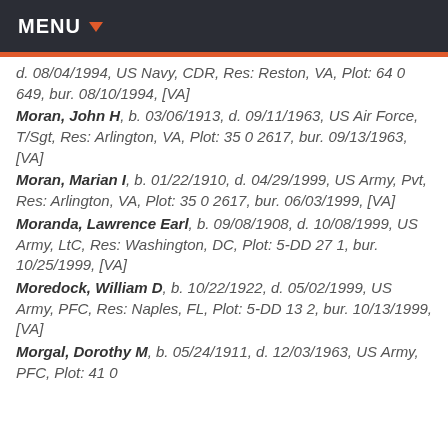MENU
d. 08/04/1994, US Navy, CDR, Res: Reston, VA, Plot: 64 0 649, bur. 08/10/1994, [VA]
Moran, John H, b. 03/06/1913, d. 09/11/1963, US Air Force, T/Sgt, Res: Arlington, VA, Plot: 35 0 2617, bur. 09/13/1963, [VA]
Moran, Marian I, b. 01/22/1910, d. 04/29/1999, US Army, Pvt, Res: Arlington, VA, Plot: 35 0 2617, bur. 06/03/1999, [VA]
Moranda, Lawrence Earl, b. 09/08/1908, d. 10/08/1999, US Army, LtC, Res: Washington, DC, Plot: 5-DD 27 1, bur. 10/25/1999, [VA]
Moredock, William D, b. 10/22/1922, d. 05/02/1999, US Army, PFC, Res: Naples, FL, Plot: 5-DD 13 2, bur. 10/13/1999, [VA]
Morgal, Dorothy M, b. 05/24/1911, d. 12/03/1963, US Army, PFC, Plot: 41 0